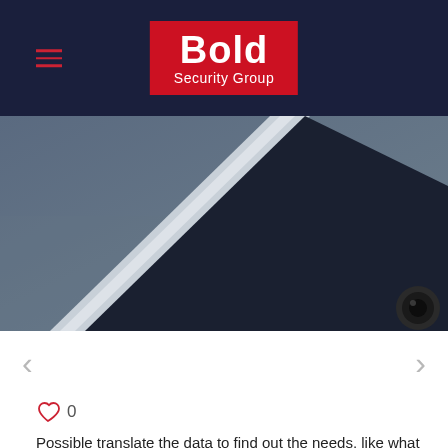[Figure (logo): Bold Security Group logo — white text on red background inside dark navy navigation bar with hamburger menu icon]
[Figure (photo): Hero image showing a tablet or device corner on a dark blue-grey surface with a lens or round object in the bottom right]
< (previous arrow navigation)
> (next arrow navigation)
♡ 0
Possible translate the data to find out the needs, like what